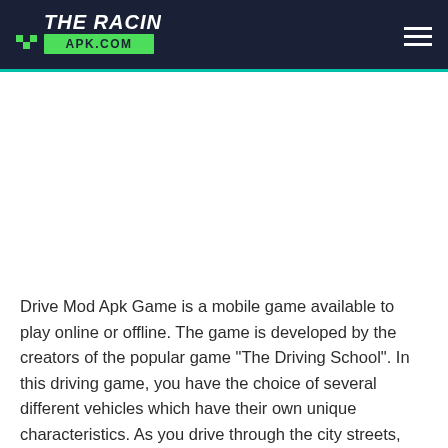THE RACING APK.COM
Drive Mod Apk Game is a mobile game available to play online or offline. The game is developed by the creators of the popular game “The Driving School”. In this driving game, you have the choice of several different vehicles which have their own unique characteristics. As you drive through the city streets,